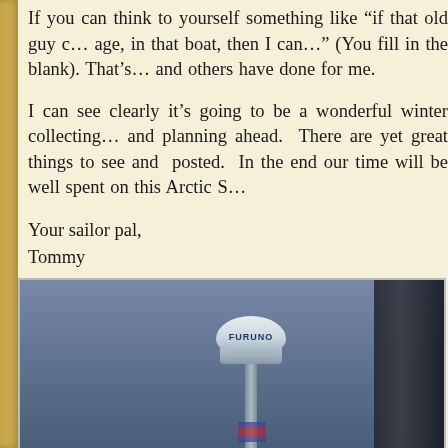If you can think to yourself something like "if that old guy c… age, in that boat, then I can…" (You fill in the blank). That's… and others have done for me.
I can see clearly it's going to be a wonderful winter collecting… and planning ahead. There are yet great things to see and … posted. In the end our time will be well spent on this Arctic S…
Your sailor pal,
Tommy
[Figure (photo): Photograph looking up at a Furuno radar dome on a mast against a dim blue-grey sky, with a dark structure on the right side and an American flag partially visible below.]